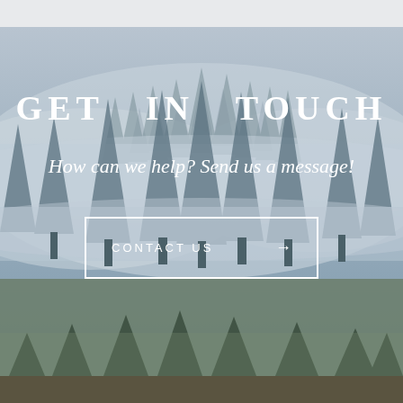[Figure (photo): Misty foggy forest with tall evergreen pine trees in grey-blue haze, used as full-width background image]
GET IN TOUCH
How can we help? Send us a message!
CONTACT US →